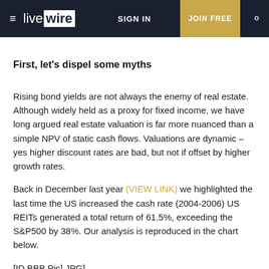livewire | SIGN IN | JOIN FREE
First, let's dispel some myths
Rising bond yields are not always the enemy of real estate. Although widely held as a proxy for fixed income, we have long argued real estate valuation is far more nuanced than a simple NPV of static cash flows. Valuations are dynamic – yes higher discount rates are bad, but not if offset by higher growth rates.
Back in December last year (VIEW LINK) we highlighted the last time the US increased the cash rate (2004-2006) US REITs generated a total return of 61.5%, exceeding the S&P500 by 38%. Our analysis is reproduced in the chart below.
[ID BBB Pic] JPG]